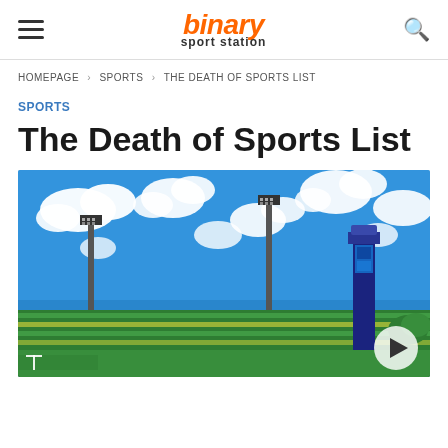binary sport station
HOMEPAGE > SPORTS > THE DEATH OF SPORTS LIST
SPORTS
The Death of Sports List
[Figure (photo): A wide-angle photo of a sports stadium with green and yellow seating, floodlight towers, a scoreboard tower, and a bright blue sky with white clouds.]